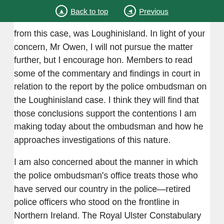Back to top   Previous
from this case, was Loughinisland. In light of your concern, Mr Owen, I will not pursue the matter further, but I encourage hon. Members to read some of the commentary and findings in court in relation to the report by the police ombudsman on the Loughinisland case. I think they will find that those conclusions support the contentions I am making today about the ombudsman and how he approaches investigations of this nature.
I am also concerned about the manner in which the police ombudsman's office treats those who have served our country in the police—retired police officers who stood on the frontline in Northern Ireland. The Royal Ulster Constabulary lost over 300 officers and countless hundreds more were seriously